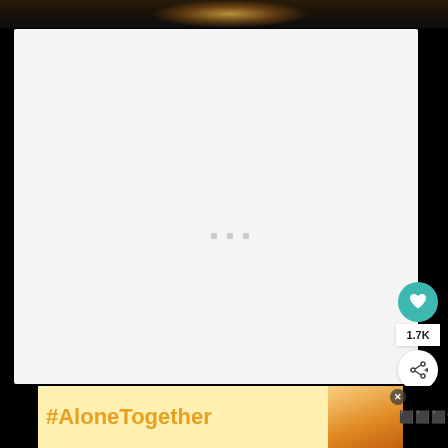[Figure (photo): Dark photo of a scene with warm orange/amber lighting, partially visible at top of page]
[Figure (screenshot): Large light gray content loading area with three small gray square dots in the center indicating loading state]
[Figure (infographic): UI elements: teal heart/favorite button with 1.7K count and a share button on the right side]
[Figure (screenshot): Bottom advertisement banner with yellow background showing #AloneTogether hashtag in orange text, a woman photo, close X button, and Whisk logo on black bar]